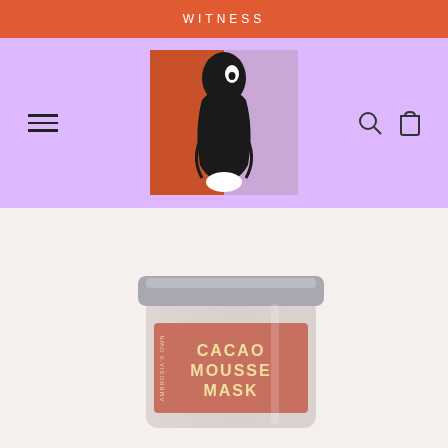WITNESS
[Figure (logo): Witness brand logo: abstract illustration of a black face silhouette with an eye, split between an orange/rust background and a purple background]
[Figure (photo): A glass jar of Cacao Mousse Mask with a silver lid and a salmon/pink label, on a light background]